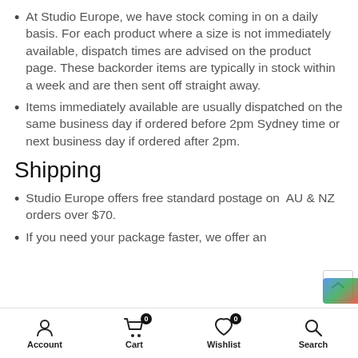At Studio Europe, we have stock coming in on a daily basis. For each product where a size is not immediately available, dispatch times are advised on the product page. These backorder items are typically in stock within a week and are then sent off straight away.
Items immediately available are usually dispatched on the same business day if ordered before 2pm Sydney time or next business day if ordered after 2pm.
Shipping
Studio Europe offers free standard postage on  AU & NZ orders over $70.
If you need your package faster, we offer an express Express Shipping